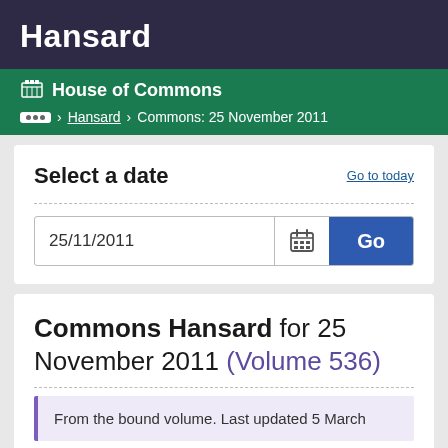Hansard
House of Commons
... > Hansard > Commons: 25 November 2011
Select a date
Go to today
25/11/2011
Go
Commons Hansard for 25 November 2011 (Volume 536)
From the bound volume. Last updated 5 March